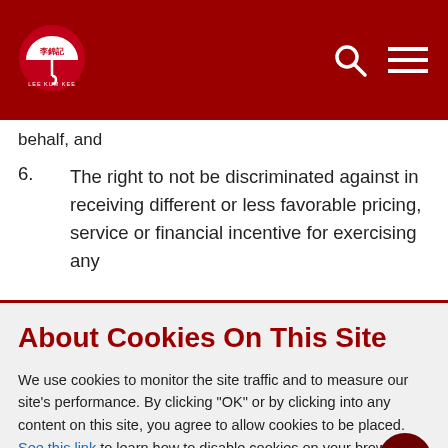Lee Kum Kee website header with logo, search icon, and menu icon
behalf, and
6. The right to not be discriminated against in receiving different or less favorable pricing, service or financial incentive for exercising any of the above rights.
About Cookies On This Site
We use cookies to monitor the site traffic and to measure our site's performance. By clicking “OK” or by clicking into any content on this site, you agree to allow cookies to be placed. See this link to learn how to disable cookies on your browser. View our Privacy Statement and Terms of Use.
OK